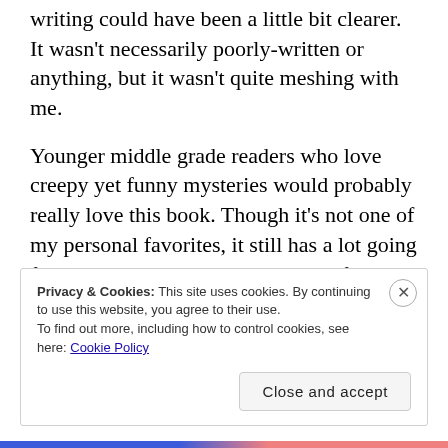writing could have been a little bit clearer. It wasn't necessarily poorly-written or anything, but it wasn't quite meshing with me.
Younger middle grade readers who love creepy yet funny mysteries would probably really love this book. Though it's not one of my personal favorites, it still has a lot going for it and may be very entertaining for young readers.
Privacy & Cookies: This site uses cookies. By continuing to use this website, you agree to their use.
To find out more, including how to control cookies, see here: Cookie Policy